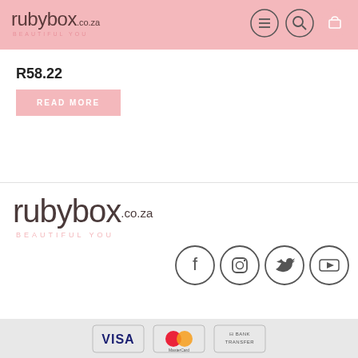[Figure (logo): rubybox.co.za BEAUTIFUL YOU logo in pink header]
R58.22
READ MORE
[Figure (logo): rubybox.co.za BEAUTIFUL YOU logo in footer]
[Figure (infographic): Social media icons: Facebook, Instagram, Twitter, YouTube]
[Figure (infographic): Payment method icons: VISA, MasterCard, Bank Transfer]